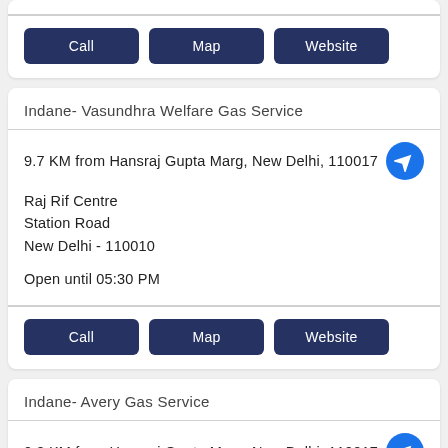Call  Map  Website
Indane- Vasundhra Welfare Gas Service
9.7 KM from Hansraj Gupta Marg, New Delhi, 110017
Raj Rif Centre
Station Road
New Delhi - 110010
Open until 05:30 PM
Call  Map  Website
Indane- Avery Gas Service
9.8 KM from Hansraj Gupta Marg, New Delhi, 110017